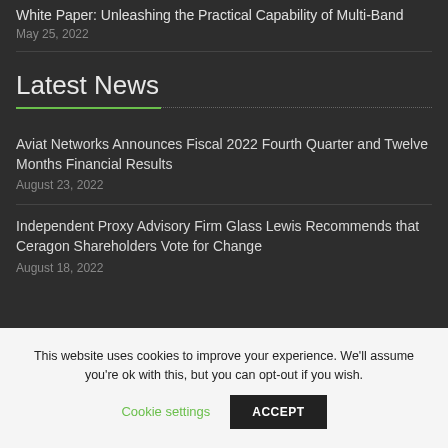White Paper: Unleashing the Practical Capability of Multi-Band
May 25, 2022
Latest News
Aviat Networks Announces Fiscal 2022 Fourth Quarter and Twelve Months Financial Results
August 23, 2022
Independent Proxy Advisory Firm Glass Lewis Recommends that Ceragon Shareholders Vote for Change
August 18, 2022
This website uses cookies to improve your experience. We'll assume you're ok with this, but you can opt-out if you wish.
Cookie settings   ACCEPT